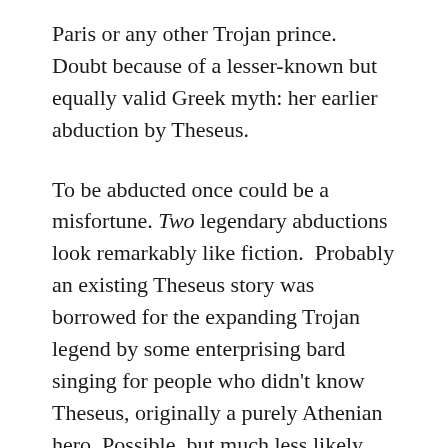Paris or any other Trojan prince.  Doubt because of a lesser-known but equally valid Greek myth: her earlier abduction by Theseus.
To be abducted once could be a misfortune. Two legendary abductions look remarkably like fiction.  Probably an existing Theseus story was borrowed for the expanding Trojan legend by some enterprising bard singing for people who didn't know Theseus, originally a purely Athenian hero. Possible, but much less likely, that it was the other way around.
But if Troy was mostly myth, what was the reality?